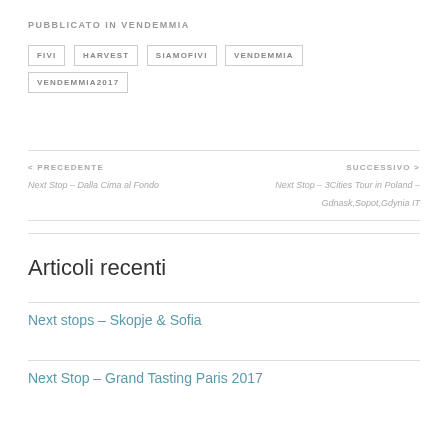PUBBLICATO IN VENDEMMIA
FIVI
HARVEST
SIAMOFIVI
VENDEMMIA
VENDEMMIA2017
< PRECEDENTE
Next Stop – Dalla Cima al Fondo
SUCCESSIVO >
Next Stop – 3Cities Tour in Poland – Gdnask,Sopot,Gdynia IT
Articoli recenti
Next stops – Skopje & Sofia
Next Stop – Grand Tasting Paris 2017